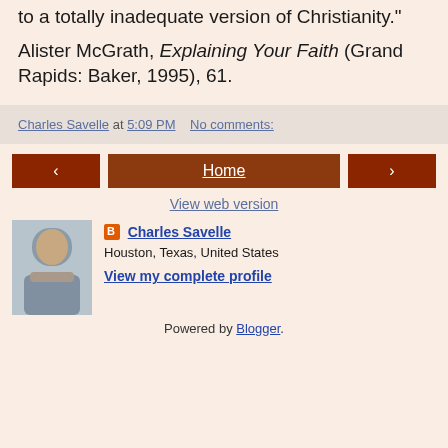to a totally inadequate version of Christianity."
Alister McGrath, Explaining Your Faith (Grand Rapids: Baker, 1995), 61.
Charles Savelle at 5:09 PM   No comments:
‹   Home   ›
View web version
[Figure (photo): Profile photo of Charles Savelle, a man in a striped shirt speaking to people]
Charles Savelle
Houston, Texas, United States
View my complete profile
Powered by Blogger.